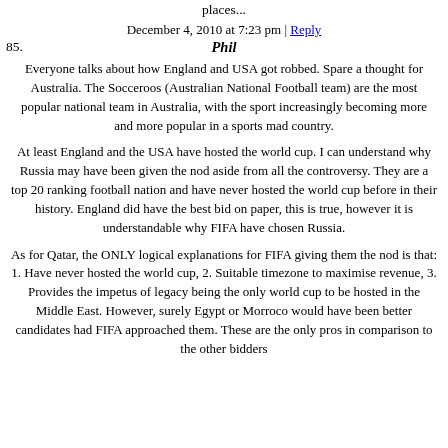places...
December 4, 2010 at 7:23 pm | Reply
85.  Phil
Everyone talks about how England and USA got robbed. Spare a thought for Australia. The Socceroos (Australian National Football team) are the most popular national team in Australia, with the sport increasingly becoming more and more popular in a sports mad country.
At least England and the USA have hosted the world cup. I can understand why Russia may have been given the nod aside from all the controversy. They are a top 20 ranking football nation and have never hosted the world cup before in their history. England did have the best bid on paper, this is true, however it is understandable why FIFA have chosen Russia.
As for Qatar, the ONLY logical explanations for FIFA giving them the nod is that: 1. Have never hosted the world cup, 2. Suitable timezone to maximise revenue, 3. Provides the impetus of legacy being the only world cup to be hosted in the Middle East. However, surely Egypt or Morroco would have been better candidates had FIFA approached them. These are the only pros in comparison to the other bidders